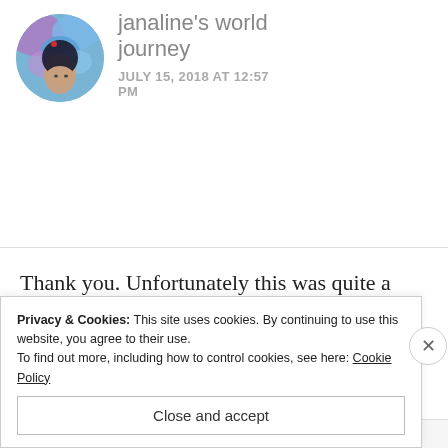[Figure (photo): Circular avatar photo showing a person with colorful blue/purple abstract background art, used as a blog commenter profile image]
janaline's world journey
JULY 15, 2018 AT 12:57 PM
Thank you. Unfortunately this was quite a while ago and I can not quite remember the name of the company I used, sorry.
Privacy & Cookies: This site uses cookies. By continuing to use this website, you agree to their use.
To find out more, including how to control cookies, see here: Cookie Policy
Close and accept